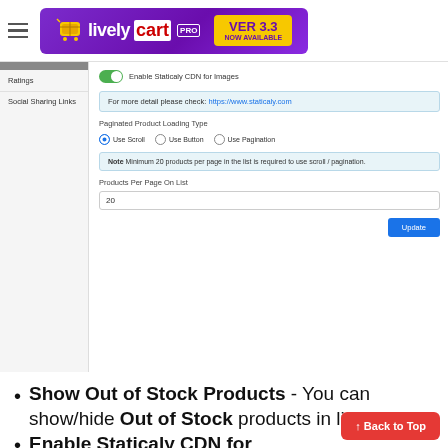[Figure (screenshot): LivelyCart Pro version 3.3 banner with purple gradient background, shopping cart icon, brand name, and yellow VER 3.3 NOW AVAILABLE badge]
[Figure (screenshot): Settings panel showing: Enable Staticaly CDN for Images toggle (on), info box with link to https://www.staticaly.com, Paginated Product Loading Type options (Use Scroll selected, Use Button, Use Pagination), Note about minimum 20 products, Products Per Page On List field with value 20, and Update button. Left sidebar shows Ratings and Social Sharing Links navigation items.]
Show Out of Stock Products - You can show/hide Out of Stock products in list using this switch.
Enable Staticaly CDN for Imag...
[Figure (screenshot): Back to Top red button in bottom right corner]